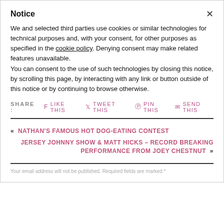Notice
We and selected third parties use cookies or similar technologies for technical purposes and, with your consent, for other purposes as specified in the cookie policy. Denying consent may make related features unavailable.
You can consent to the use of such technologies by closing this notice, by scrolling this page, by interacting with any link or button outside of this notice or by continuing to browse otherwise.
SHARE :  f like this   tweet this   pin this   send this
« NATHAN'S FAMOUS HOT DOG-EATING CONTEST
JERSEY JOHNNY SHOW & MATT HICKS – RECORD BREAKING PERFORMANCE FROM JOEY CHESTNUT »
Your email address will not be published. Required fields are marked *